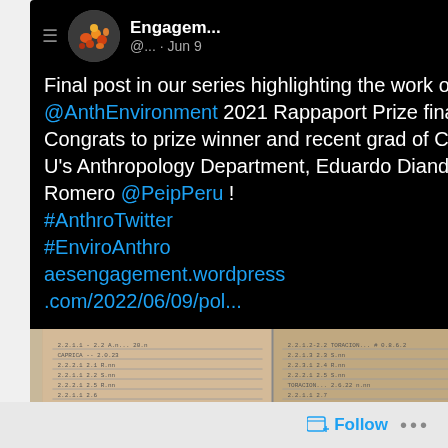[Figure (screenshot): Screenshot of a Twitter/social media post. Header shows hamburger menu icon, circular avatar with fruit image, account name 'Engagem...' with Twitter bird icon and handle '@... · Jun 9'. Tweet body text about Rappaport Prize finalists and Eduardo Dianderas Romero, with mentions @AnthEnvironment, @PeipPeru, hashtags #AnthroTwitter, #EnviroAnthro, and a link to aesengagement.wordpress.com/2022/06/09/pol.... Below the text is a partial photo of an open notebook/ledger.]
Final post in our series highlighting the work of the @AnthEnvironment 2021 Rappaport Prize finalists! Congrats to prize winner and recent grad of Columbia U's Anthropology Department, Eduardo Dianderas Romero @PeipPeru ! #AnthroTwitter #EnviroAnthro aesengagement.wordpress.com/2022/06/09/pol...
Follow ...